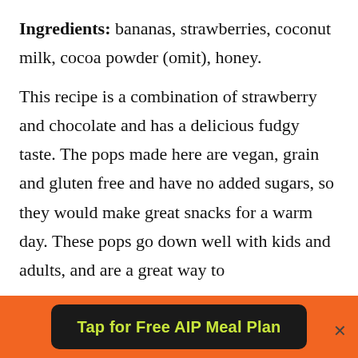Ingredients: bananas, strawberries, coconut milk, cocoa powder (omit), honey.
This recipe is a combination of strawberry and chocolate and has a delicious fudgy taste. The pops made here are vegan, grain and gluten free and have no added sugars, so they would make great snacks for a warm day. These pops go down well with kids and adults, and are a great way to
Tap for Free AIP Meal Plan